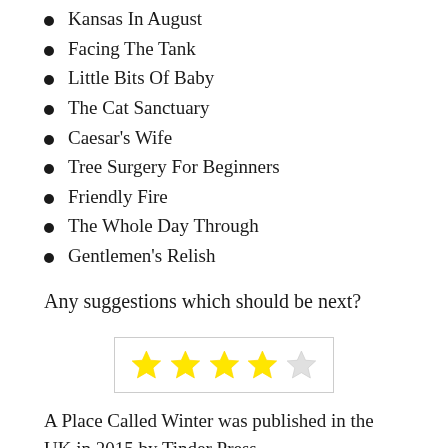Kansas In August
Facing The Tank
Little Bits Of Baby
The Cat Sanctuary
Caesar's Wife
Tree Surgery For Beginners
Friendly Fire
The Whole Day Through
Gentlemen's Relish
Any suggestions which should be next?
[Figure (other): 4 out of 5 stars rating widget — four filled yellow stars and one empty/outline star]
A Place Called Winter was published in the UK in 2015 by Tinder Press